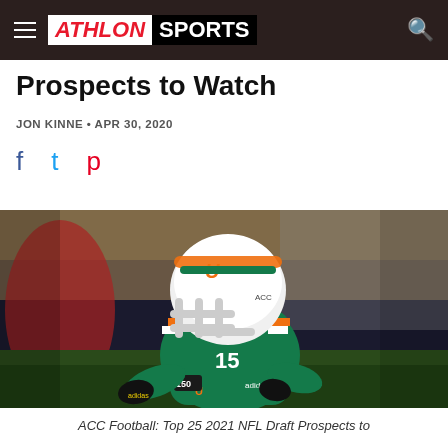ATHLON SPORTS
Prospects to Watch
JON KINNE • APR 30, 2020
[Figure (photo): University of Miami football player in green and orange uniform number 15 in a defensive stance during a game, wearing a white helmet with the U logo]
ACC Football: Top 25 2021 NFL Draft Prospects to